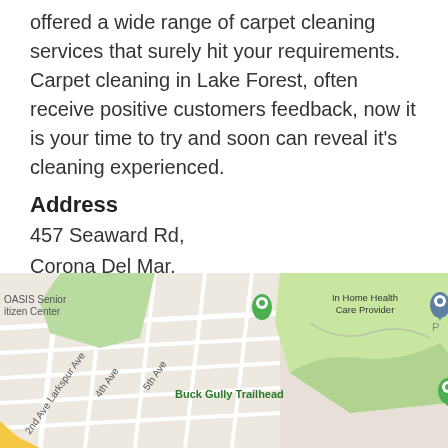offered a wide range of carpet cleaning services that surely hit your requirements. Carpet cleaning in Lake Forest, often receive positive customers feedback, now it is your time to try and soon can reveal it's cleaning experienced.
Address
457 Seaward Rd,
Corona Del Mar,
CA 92625
714-406-2120
Drcarpetlakeforest@gmail.com
carpetcleaning-in-lakeforest.com
[Figure (map): Google Maps screenshot showing area around Buck Gully Trailhead, Corona Del Mar. Visible labels: OASIS Senior Citizen Center, In Home Health Care Provider, Buck Gully Trailhead, Larkspur Ave, 4th Ave, 5th Ave, 2nd Ave, Sandcastle (street). Green map pins on OASIS Senior Citizen Center and Buck Gully Trailhead; blue map pin on In Home Health Care Provider.]